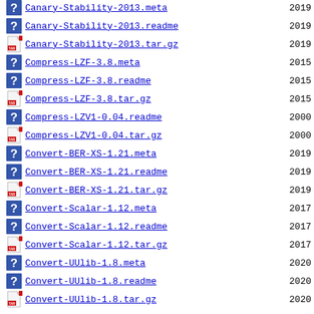Canary-Stability-2013.meta  2019
Canary-Stability-2013.readme  2019
Canary-Stability-2013.tar.gz  2019
Compress-LZF-3.8.meta  2015
Compress-LZF-3.8.readme  2015
Compress-LZF-3.8.tar.gz  2015
Compress-LZV1-0.04.readme  2000
Compress-LZV1-0.04.tar.gz  2000
Convert-BER-XS-1.21.meta  2019
Convert-BER-XS-1.21.readme  2019
Convert-BER-XS-1.21.tar.gz  2019
Convert-Scalar-1.12.meta  2017
Convert-Scalar-1.12.readme  2017
Convert-Scalar-1.12.tar.gz  2017
Convert-UUlib-1.8.meta  2020
Convert-UUlib-1.8.readme  2020
Convert-UUlib-1.8.tar.gz  2020